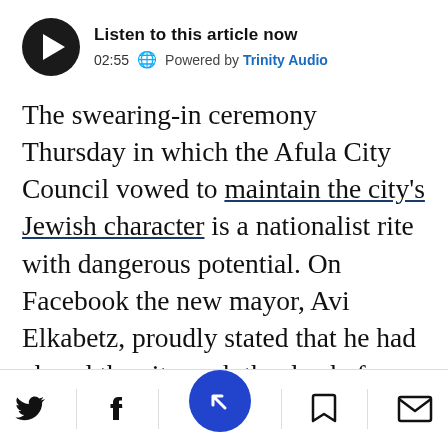[Figure (other): Audio player widget: play button (black circle with white triangle), title 'Listen to this article now', duration '02:55', globe icon, 'Powered by Trinity Audio']
The swearing-in ceremony Thursday in which the Afula City Council vowed to maintain the city's Jewish character is a nationalist rite with dangerous potential. On Facebook the new mayor, Avi Elkabetz, proudly stated that he had closed the city park the day before to everyone but city residents. Elkabetz is keeping his election promise. After all, he pledged to maintain this northern city's Jewish character and fight the "conquest of
[Figure (other): Bottom navigation bar with Twitter, Facebook, news aggregator (blue circle), bookmark, and mail icons]